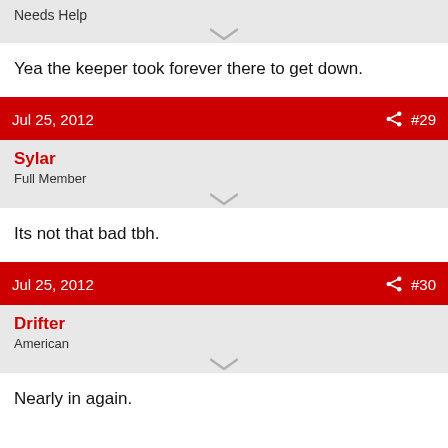Needs Help
Yea the keeper took forever there to get down.
Jul 25, 2012  #29
Sylar
Full Member
Its not that bad tbh.
Jul 25, 2012  #30
Drifter
American
Nearly in again.